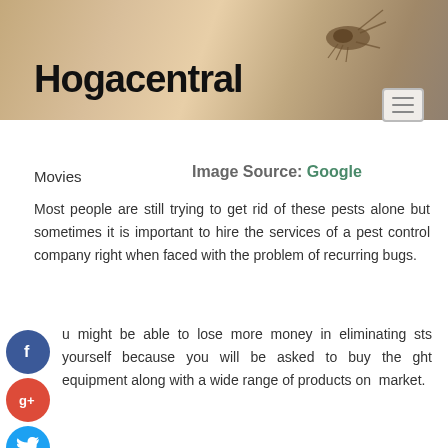[Figure (photo): Header image showing a cockroach on a surface with warm brown tones]
Hogacentral
Movies
Image Source: Google
Most people are still trying to get rid of these pests alone but sometimes it is important to hire the services of a pest control company right when faced with the problem of recurring bugs.
u might be able to lose more money in eliminating sts yourself because you will be asked to buy the ght equipment along with a wide range of products on market.
s can be useful to use a pest management company that is well-known because they have well-trained professionals with the necessary equipment, formulas, and tools that are required in the process of